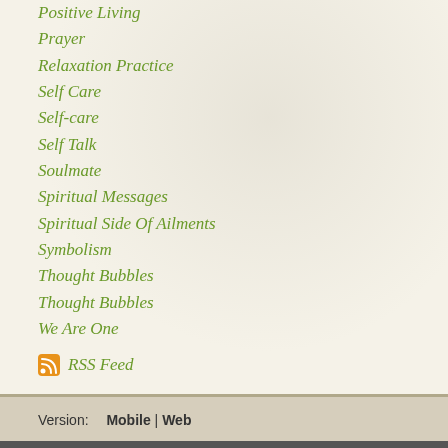Positive Living
Prayer
Relaxation Practice
Self Care
Self-care
Self Talk
Soulmate
Spiritual Messages
Spiritual Side Of Ailments
Symbolism
Thought Bubbles
Thought Bubbles
We Are One
RSS Feed
Version:  Mobile |  Web
Created with Weebly
Get the App